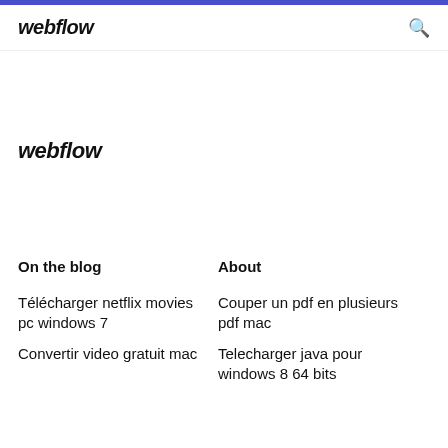webflow
webflow
On the blog
About
Télécharger netflix movies pc windows 7
Couper un pdf en plusieurs pdf mac
Convertir video gratuit mac
Telecharger java pour windows 8 64 bits